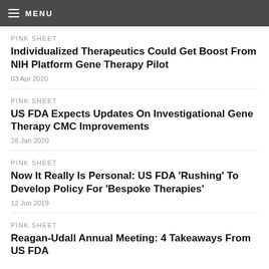MENU
PINK SHEET
Individualized Therapeutics Could Get Boost From NIH Platform Gene Therapy Pilot
03 Apr 2020
PINK SHEET
US FDA Expects Updates On Investigational Gene Therapy CMC Improvements
28 Jan 2020
PINK SHEET
Now It Really Is Personal: US FDA 'Rushing' To Develop Policy For 'Bespoke Therapies'
12 Jun 2019
PINK SHEET
Reagan-Udall Annual Meeting: 4 Takeaways From US FDA